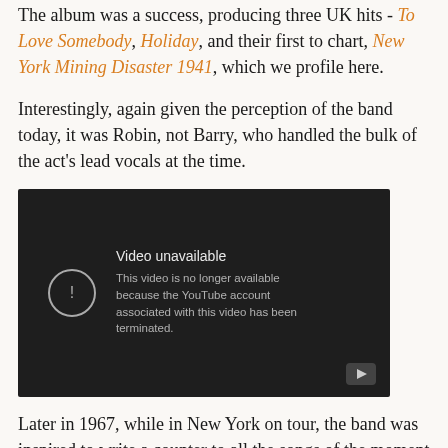The album was a success, producing three UK hits - To Love Somebody, Holiday, and their first to chart, New York Mining Disaster 1941, which we profile here.
Interestingly, again given the perception of the band today, it was Robin, not Barry, who handled the bulk of the act's lead vocals at the time.
[Figure (screenshot): Embedded YouTube video player showing 'Video unavailable' error message. The message reads: 'This video is no longer available because the YouTube account associated with this video has been terminated.' A circular exclamation icon appears on the left and a YouTube play button icon is in the bottom right corner.]
Later in 1967, while in New York on tour, the band was inspired to write a counter to all the songs of the moment urging people to go to San Francisco.